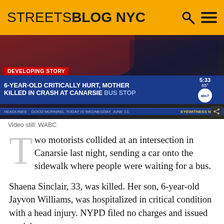STREETSBLOG NYC
[Figure (screenshot): TV news screenshot showing WABC Eyewitness News chyron: DEVELOPING STORY - 6-YEAR-OLD CRITICALLY HURT, MOTHER KILLED IN CRASH AT CANARSIE BUS STOP. Time: 5:33, 65°. Ticker: HEADLINES GOOD MORNING, TODAY IS WEDNESDAY, JUNE 13,]
Video still: WABC
Two motorists collided at an intersection in Canarsie last night, sending a car onto the sidewalk where people were waiting for a bus.
Shaena Sinclair, 33, was killed. Her son, 6-year-old Jayvon Williams, was hospitalized in critical condition with a head injury. NYPD filed no charges and issued no tickets.
The victims were at the B17 stop at the corner of